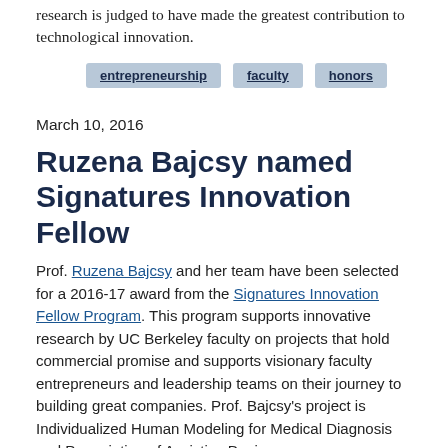research is judged to have made the greatest contribution to technological innovation.
entrepreneurship
faculty
honors
March 10, 2016
Ruzena Bajcsy named Signatures Innovation Fellow
Prof. Ruzena Bajcsy and her team have been selected for a 2016-17 award from the Signatures Innovation Fellow Program. This program supports innovative research by UC Berkeley faculty on projects that hold commercial promise and supports visionary faculty entrepreneurs and leadership teams on their journey to building great companies. Prof. Bajcsy's project is Individualized Human Modeling for Medical Diagnosis and Prescription of Assistive Devices.
entrepreneurship
faculty
honors